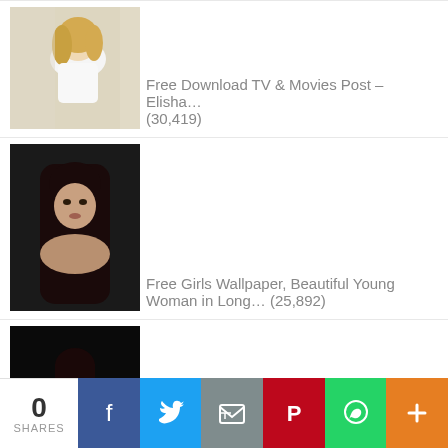[Figure (photo): Blonde woman in white top]
Free Download TV & Movies Post – Elisha… (30,419)
[Figure (photo): Young woman with long dark hair against dark background]
Free Girls Wallpaper, Beautiful Young Woman in Long… (25,892)
[Figure (photo): Woman in black outfit with red heels against dark background]
Sexy Girl Picture, Hot Girl in Perfect Body Figure,… (10,629)